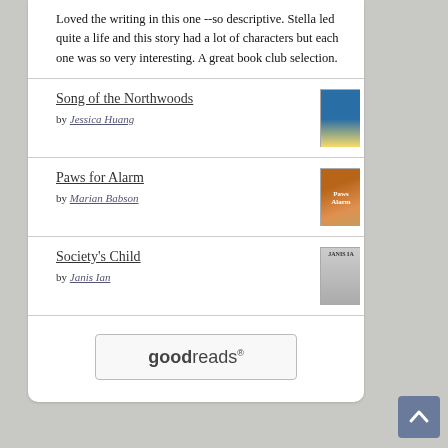Loved the writing in this one --so descriptive. Stella led quite a life and this story had a lot of characters but each one was so very interesting. A great book club selection.
Song of the Northwoods by Jessica Huang
Paws for Alarm by Marian Babson
Society's Child by Janis Ian
[Figure (logo): Goodreads logo in a rounded rectangle box]
[Figure (illustration): Scroll to top button with upward arrow, dark blue-gray background]